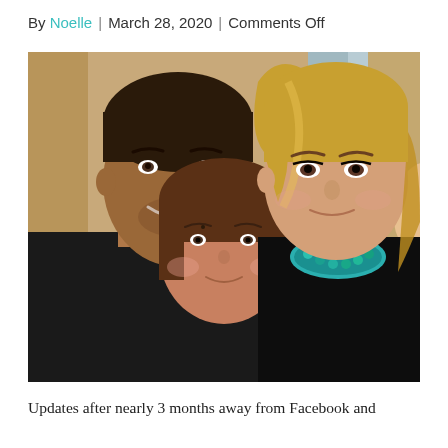By Noelle | March 28, 2020 | Comments Off
[Figure (photo): A family selfie showing a man in a black shirt on the left, a woman with blonde hair wearing a turquoise necklace on the right, and a child with brown hair in the foreground center.]
Updates after nearly 3 months away from Facebook and